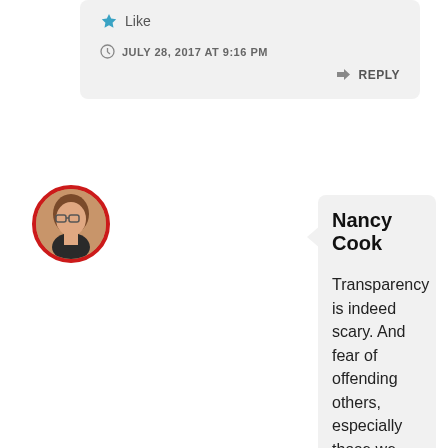[Figure (other): Star/Like icon with 'Like' text in a light grey comment bubble]
JULY 28, 2017 AT 9:16 PM
REPLY
[Figure (photo): Circular avatar photo of Nancy Cook with red circular border]
Nancy Cook
Transparency is indeed scary. And fear of offending others, especially those we care about, is something I am trying to get over. It's so important to be honest in memoir.